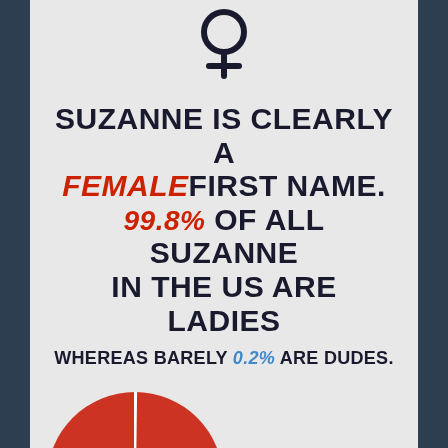[Figure (infographic): Venus/female symbol (♀) in dark navy color at top of page]
SUZANNE IS CLEARLY A FEMALE FIRST NAME. 99.8% OF ALL SUZANNE IN THE US ARE LADIES WHEREAS BARELY 0.2% ARE DUDES.
[Figure (pie-chart): Gender distribution of the name Suzanne]